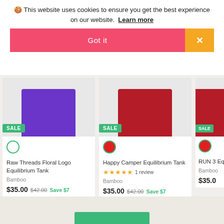🍪 This website uses cookies to ensure you get the best experience on our website. Learn more
Got it
[Figure (screenshot): Cookie consent banner with Got it button and close X button]
[Figure (photo): Purple tank top shirt product image with SALE badge]
Raw Threads Floral Logo Equilibrium Tank
Bamboo
$35.00 $42.00 Save $7
[Figure (photo): Red tank top shirt product image with SALE badge]
Happy Camper Equilibrium Tank
★★★★★ 1 review
Bamboo
$35.00 $42.00 Save $7
[Figure (photo): Partial red tank top shirt product image with SALE badge, RUN 3 partially visible]
RUN 3 Equilib...
Bamboo
$35.0...